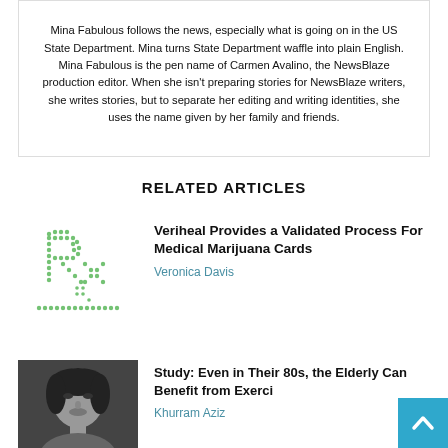Mina Fabulous follows the news, especially what is going on in the US State Department. Mina turns State Department waffle into plain English. Mina Fabulous is the pen name of Carmen Avalino, the NewsBlaze production editor. When she isn't preparing stories for NewsBlaze writers, she writes stories, but to separate her editing and writing identities, she uses the name given by her family and friends.
RELATED ARTICLES
Veriheal Provides a Validated Process For Medical Marijuana Cards
Veronica Davis
Study: Even in Their 80s, the Elderly Can Benefit from Exerci…
Khurram Aziz